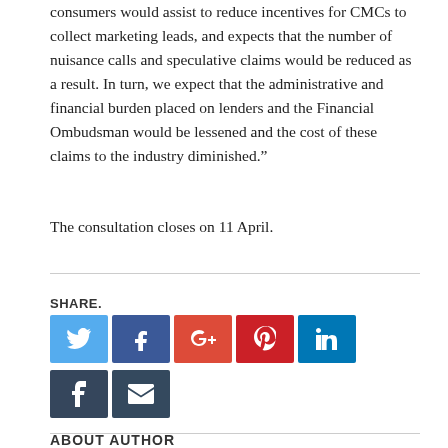consumers would assist to reduce incentives for CMCs to collect marketing leads, and expects that the number of nuisance calls and speculative claims would be reduced as a result. In turn, we expect that the administrative and financial burden placed on lenders and the Financial Ombudsman would be lessened and the cost of these claims to the industry diminished.”
The consultation closes on 11 April.
[Figure (infographic): Social share buttons: Twitter (blue), Facebook (dark blue), Google+ (red-orange), Pinterest (red), LinkedIn (blue), Tumblr (dark navy), Email (dark teal)]
ABOUT AUTHOR